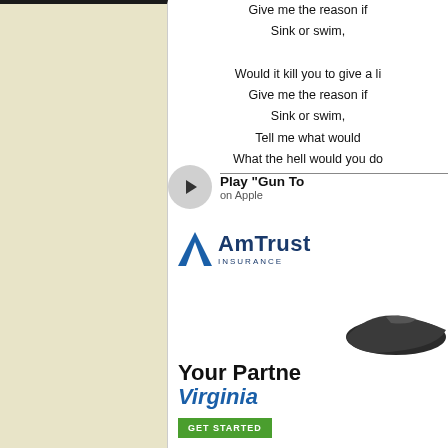[Figure (screenshot): Left sidebar panel with dark beige/cream background and dark top bar]
Give me the reason if
Sink or swim,

Would it kill you to give a li
Give me the reason if
Sink or swim,
Tell me what would
What the hell would you do
[Figure (other): Music player row with play button circle and 'Play "Gun To' text with 'on Apple' subtitle]
[Figure (logo): AmTrust Insurance logo with blue triangle/A symbol and AmTrust Insurance text]
[Figure (photo): Dark shoe/sneaker image in lower right]
Your Partne
Virginia
[Figure (other): Green GET STARTED button]